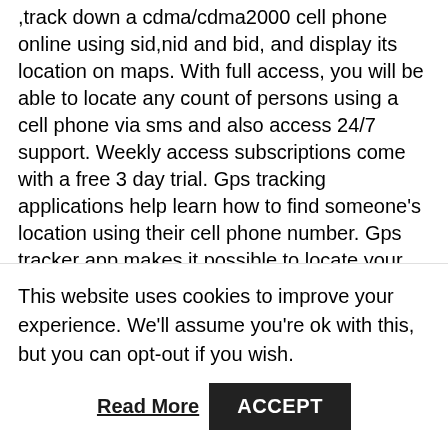,track down a cdma/cdma2000 cell phone online using sid,nid and bid, and display its location on maps. With full access, you will be able to locate any count of persons using a cell phone via sms and also access 24/7 support. Weekly access subscriptions come with a free 3 day trial. Gps tracking applications help learn how to find someone's location using their cell phone number. Gps tracker app makes it possible to locate your lost or stolen cell phone in less than a minute. You can also track your friends, kids or your special someone through this method. ) for mobile phones in europe and the u. ) for mobile phones in the u. , south america and canada. ) for mobile phones elsewhere. This system will not work in countries without gsm
This website uses cookies to improve your experience. We'll assume you're ok with this, but you can opt-out if you wish.
Read More | ACCEPT